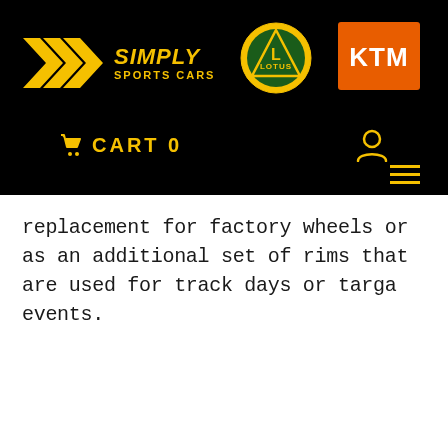[Figure (logo): Simply Sports Cars logo with yellow chevron arrows and yellow italic text 'SIMPLY SPORTS CARS' on black background]
[Figure (logo): Lotus circular logo in yellow and green on black background]
[Figure (logo): KTM logo in white text on orange rectangular background]
CART 0
replacement for factory wheels or as an additional set of rims that are used for track days or targa events.